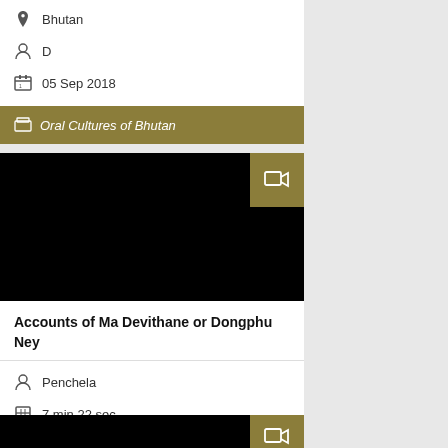Bhutan
D
05 Sep 2018
Oral Cultures of Bhutan
[Figure (screenshot): Black video thumbnail with video camera icon badge]
Accounts of Ma Devithane or Dongphu Ney
Penchela
7 min 22 sec
Bhutan
DN
01 Sep 2018
Oral Cultures of Bhutan
[Figure (screenshot): Black video thumbnail with video camera icon badge (partial, bottom of page)]